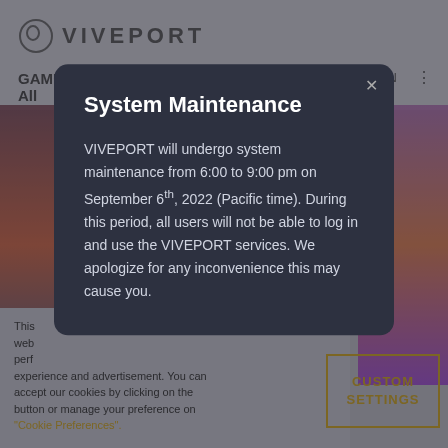[Figure (screenshot): Viveport website background showing logo, navigation with GAMES, Clear All, SIGN IN, game tile thumbnails, and cookie consent banner]
System Maintenance
VIVEPORT will undergo system maintenance from 6:00 to 9:00 pm on September 6th, 2022 (Pacific time). During this period, all users will not be able to log in and use the VIVEPORT services. We apologize for any inconvenience this may cause you.